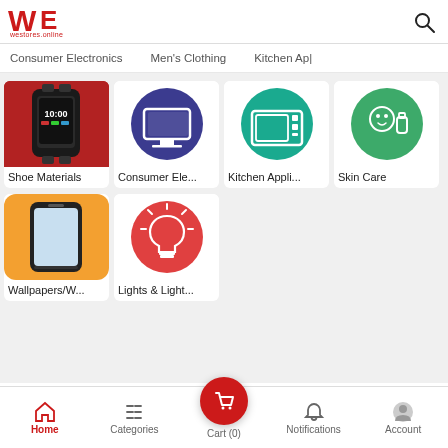[Figure (screenshot): WE westores.online logo in red with stylized W and E letters]
[Figure (other): Search magnifying glass icon in top right]
Consumer Electronics   Men's Clothing   Kitchen App|
[Figure (screenshot): Shoe Materials category card with smartwatch image on red background]
Shoe Materials
[Figure (screenshot): Consumer Electronics category card with blue circle and monitor icon]
Consumer Ele...
[Figure (screenshot): Kitchen Appliances category card with teal circle and microwave icon]
Kitchen Appli...
[Figure (screenshot): Skin Care category card with green circle and skincare icons]
Skin Care
[Figure (screenshot): Wallpapers category card with orange background and smartphone image]
Wallpapers/W...
[Figure (screenshot): Lights & Lighting category card with red circle and light bulb icon]
Lights & Light...
Home   Categories   Cart (0)   Notifications   Account